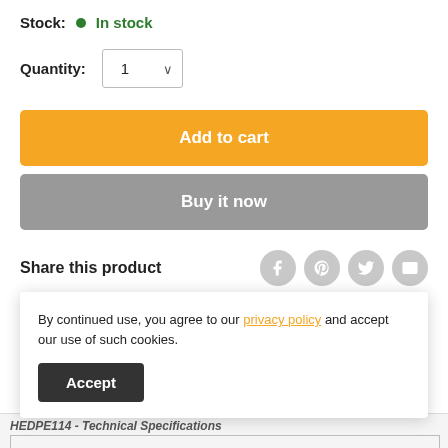Stock: ● In stock
Quantity: 1
Add to cart
Buy it now
Share this product
[Figure (infographic): Social share icons: Facebook, Pinterest, Twitter, Email]
By continued use, you agree to our privacy policy and accept our use of such cookies.
Accept
HEDPE114 - Technical Specifications